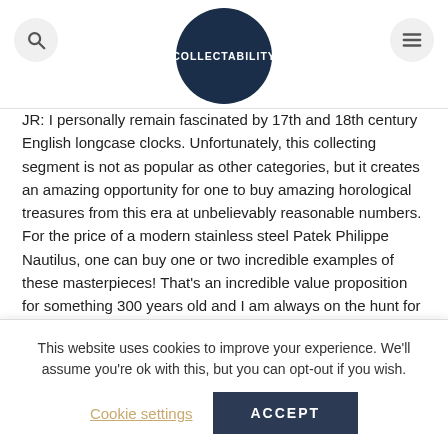COLLECTABILITY
JR: I personally remain fascinated by 17th and 18th century English longcase clocks. Unfortunately, this collecting segment is not as popular as other categories, but it creates an amazing opportunity for one to buy amazing horological treasures from this era at unbelievably reasonable numbers. For the price of a modern stainless steel Patek Philippe Nautilus, one can buy one or two incredible examples of these masterpieces! That's an incredible value proposition for something 300 years old and I am always on the hunt for more examples for my personal collection.
WTI: From being obsessed with Patek Philippe to
This website uses cookies to improve your experience. We'll assume you're ok with this, but you can opt-out if you wish.
Cookie settings   ACCEPT